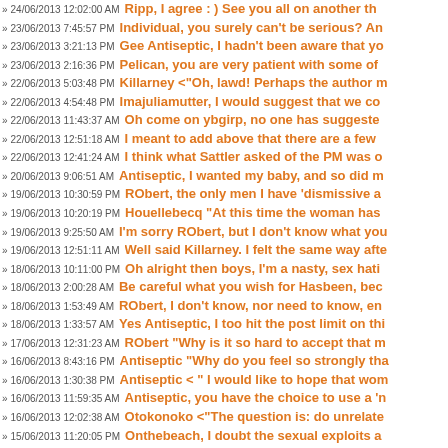24/06/2013 12:02:00 AM Ripp, I agree : ) See you all on another th
23/06/2013 7:45:57 PM Individual, you surely can't be serious? An
23/06/2013 3:21:13 PM Gee Antiseptic, I hadn't been aware that yo
23/06/2013 2:16:36 PM Pelican, you are very patient with some of
22/06/2013 5:03:48 PM Killarney <"Oh, lawd! Perhaps the author m
22/06/2013 4:54:48 PM Imajuliamutter, I would suggest that we co
22/06/2013 11:43:37 AM Oh come on ybgirp, no one has suggeste
22/06/2013 12:51:18 AM I meant to add above that there are a few
22/06/2013 12:41:24 AM I think what Sattler asked of the PM was o
20/06/2013 9:06:51 AM Antiseptic, I wanted my baby, and so did m
19/06/2013 10:30:59 PM RObert, the only men I have 'dismissive a
19/06/2013 10:20:19 PM Houellebecq "At this time the woman has
19/06/2013 9:25:50 AM I'm sorry RObert, but I don't know what you
19/06/2013 12:51:11 AM Well said Killarney. I felt the same way afte
18/06/2013 10:11:00 PM Oh alright then boys, I'm a nasty, sex hati
18/06/2013 2:00:28 AM Be careful what you wish for Hasbeen, bec
18/06/2013 1:53:49 AM RObert, I don't know, nor need to know, en
18/06/2013 1:33:57 AM Yes Antiseptic, I too hit the post limit on thi
17/06/2013 12:31:23 AM RObert "Why is it so hard to accept that m
16/06/2013 8:43:16 PM Antiseptic "Why do you feel so strongly tha
16/06/2013 1:30:38 PM Antiseptic < " I would like to hope that wom
16/06/2013 11:59:35 AM Antiseptic, you have the choice to use a 'n
16/06/2013 12:02:38 AM Otokonoko <"The question is: do unrelate
15/06/2013 11:20:05 PM Onthebeach, I doubt the sexual exploits a
15/06/2013 7:31:20 PM Poirot <" Humans really can't handle being
15/06/2013 7:17:17 PM Rubbish Onthebeach , condoms have a 95
15/06/2013 2:18:39 PM Runner, men and women behaving badly li
15/06/2013 2:00:35 PM Lol WmTrevor : ) I just had a good laugh at
15/06/2013 1:53:25 PM Geez Hasbeen old boy, drag yourself out o
15/06/2013 12:55:41 PM Antiseptic, don't you think there are alread
15/06/2013 12:37:43 PM Yes indeed Lexi, it's a dog eat dog world o
15/06/2013 5:00:11 AM Regardless of what Gillard hasn't said or de
15/06/2013 4:44:34 AM Why is it ok to ask the PM about the sexu